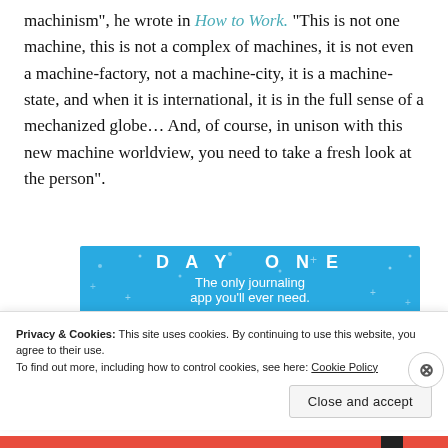machinism", he wrote in How to Work. "This is not one machine, this is not a complex of machines, it is not even a machine-factory, not a machine-city, it is a machine-state, and when it is international, it is in the full sense of a mechanized globe... And, of course, in unison with this new machine worldview, you need to take a fresh look at the person".
[Figure (other): Advertisement banner for Day One journaling app on blue background with text 'The only journaling app you'll ever need.' and a 'Get the app' button.]
Privacy & Cookies: This site uses cookies. By continuing to use this website, you agree to their use.
To find out more, including how to control cookies, see here: Cookie Policy
Close and accept